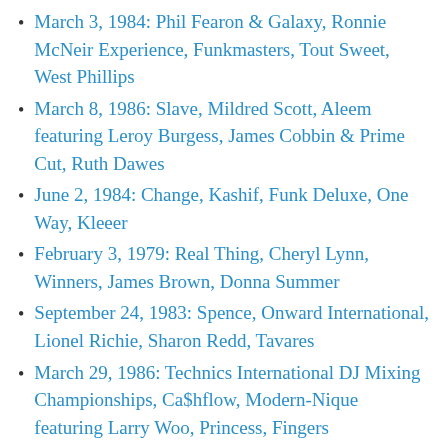March 3, 1984: Phil Fearon & Galaxy, Ronnie McNeir Experience, Funkmasters, Tout Sweet, West Phillips
March 8, 1986: Slave, Mildred Scott, Aleem featuring Leroy Burgess, James Cobbin & Prime Cut, Ruth Dawes
June 2, 1984: Change, Kashif, Funk Deluxe, One Way, Kleeer
February 3, 1979: Real Thing, Cheryl Lynn, Winners, James Brown, Donna Summer
September 24, 1983: Spence, Onward International, Lionel Richie, Sharon Redd, Tavares
March 29, 1986: Technics International DJ Mixing Championships, Ca$hflow, Modern-Nique featuring Larry Woo, Princess, Fingers